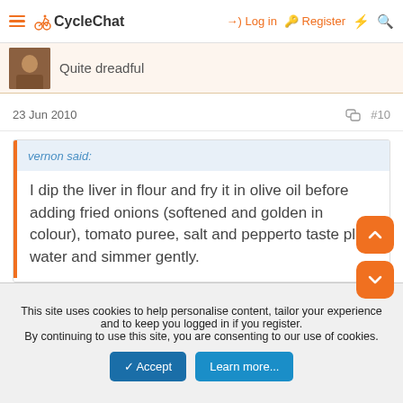CycleChat — Log in · Register
Quite dreadful
23 Jun 2010   #10
vernon said:
I dip the liver in flour and fry it in olive oil before adding fried onions (softened and golden in colour), tomato puree, salt and pepperto taste plus water and simmer gently.
Click to expand...
This site uses cookies to help personalise content, tailor your experience and to keep you logged in if you register.
By continuing to use this site, you are consenting to our use of cookies.